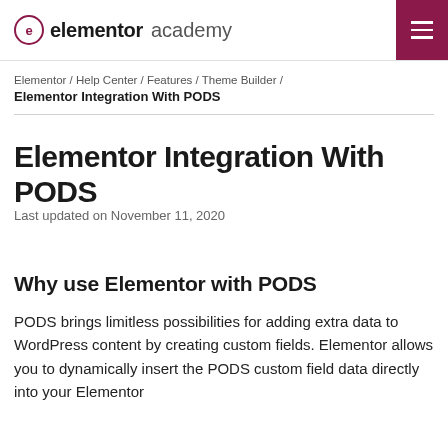elementor academy
Elementor / Help Center / Features / Theme Builder / Elementor Integration With PODS
Elementor Integration With PODS
Last updated on November 11, 2020
Why use Elementor with PODS
PODS brings limitless possibilities for adding extra data to WordPress content by creating custom fields. Elementor allows you to dynamically insert the PODS custom field data directly into your Elementor